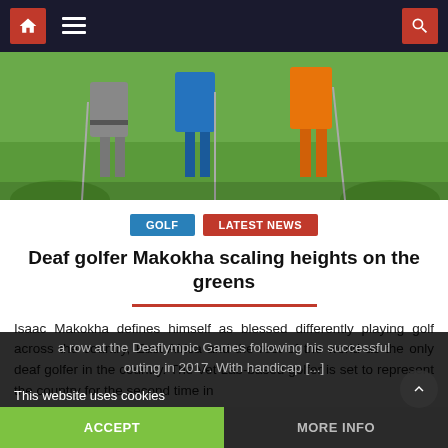[Figure (photo): Three golf players standing on a green course, viewed from waist down, wearing grey, blue, and orange outfits, holding golf clubs.]
GOLF   LATEST NEWS
Deaf golfer Makokha scaling heights on the greens
Isaac Makokha defines himself as blessed differently playing golf across the country, East Africa and the rest of the world as the only deaf golfer in the country. The Vet Lab-based golfer is set to represent the country for the second time in a row at the Deaflympic Games following his successful outing in 2017. With handicap [...]
This website uses cookies
ACCEPT
MORE INFO